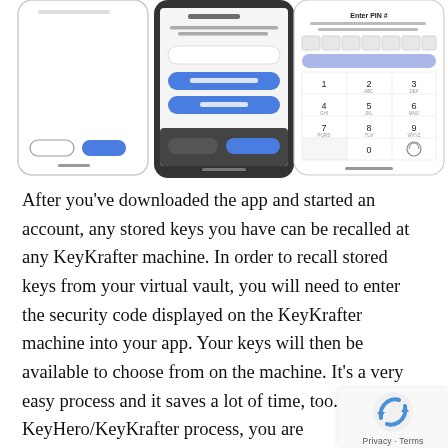[Figure (screenshot): Three smartphone app screenshots side by side. Left screenshot shows two buttons at the bottom. Middle screenshot shows a key machine pairing screen with input field and blue buttons. Right screenshot shows 'Enter PIN #' screen with a numeric keypad.]
After you've downloaded the app and started an account, any stored keys you have can be recalled at any KeyKrafter machine. In order to recall stored keys from your virtual vault, you will need to enter the security code displayed on the KeyKrafter machine into your app. Your keys will then be available to choose from on the machine. It's a very easy process and it saves a lot of time, too. W the KeyHero/KeyKrafter process, you are